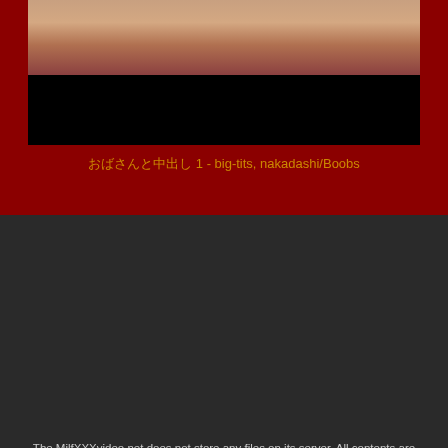[Figure (screenshot): Video thumbnail showing partial image with persons on top and black bar on bottom]
おばさんと中出し 1 - big-tits, nakadashi/Boobs
The MilfXXXvideo.net does not store any files on its server. All contents are provided by non-affiliated third parties. This site contains adult content and is intended for adults aged 18 or over
Cookies help us deliver our services. By using this website, you agree with our use of cookies.
FEEDBACK   2257   ABUSE REPORT
DMCA REPORT